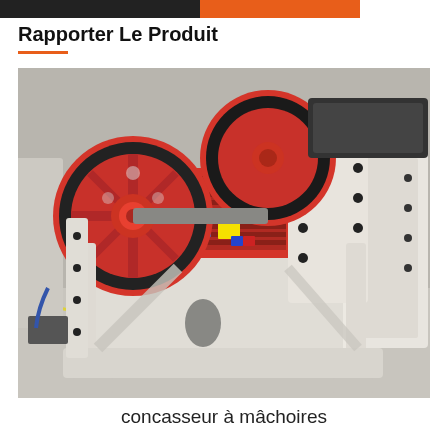Rapporter Le Produit
[Figure (photo): Industrial jaw crusher machine with large red and black flywheel, white-painted heavy cast iron body with multiple bolt holes, photographed in a factory setting. Multiple jaw crushers visible in background.]
concasseur à mâchoires